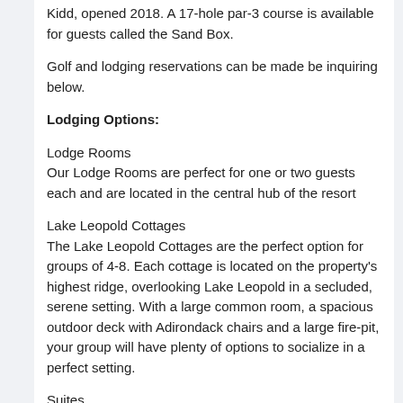Kidd, opened 2018. A 17-hole par-3 course is available for guests called the Sand Box.
Golf and lodging reservations can be made be inquiring below.
Lodging Options:
Lodge Rooms
Our Lodge Rooms are perfect for one or two guests each and are located in the central hub of the resort
Lake Leopold Cottages
The Lake Leopold Cottages are the perfect option for groups of 4-8. Each cottage is located on the property's highest ridge, overlooking Lake Leopold in a secluded, serene setting. With a large common room, a spacious outdoor deck with Adirondack chairs and a large fire-pit, your group will have plenty of options to socialize in a perfect setting.
Suites
The suites at Sand Valley are the ideal way to enjoy a getaway to Sand Valley. With spacious bedrooms and common rooms, wet bars and in-room refrigerators, and easy access to outdoor space with fantastic views of the property you will be sure to enjoy a very relaxing stay with us. Choose from King Suites and our 4-